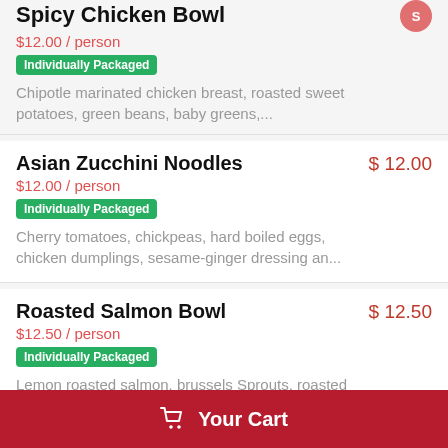Spicy Chicken Bowl — $12.00 / person — Individually Packaged — Chipotle marinated chicken breast, roasted sweet potatoes, green beans, baby greens,...
Asian Zucchini Noodles — $12.00 — $12.00 / person — Individually Packaged — Cherry tomatoes, chickpeas, hard boiled eggs, chicken dumplings, sesame-ginger dressing an...
Roasted Salmon Bowl — $12.50 — $12.50 / person — Individually Packaged — Lemon roasted salmon, brussels Sprouts, roasted cherry tomatoes & avocado.
Blackened Fish Tacos — $12.00
Your Cart